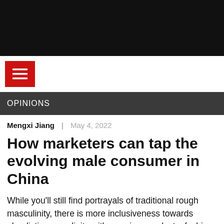[Figure (other): Black navigation header bar at top of webpage]
[Figure (other): Red hamburger menu button icon on white navigation bar]
OPINIONS
Mengxi Jiang  |  May 4, 2022
How marketers can tap the evolving male consumer in China
While you'll still find portrayals of traditional rough masculinity, there is more inclusiveness towards pluralistic masculinity with premium products, fashion and style all becoming